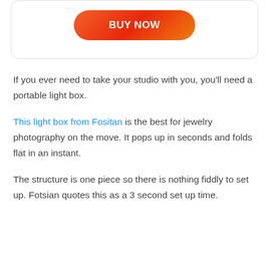[Figure (other): Card with a BUY NOW button styled with red-orange gradient and rounded pill shape]
If you ever need to take your studio with you, you'll need a portable light box.
This light box from Fositan is the best for jewelry photography on the move. It pops up in seconds and folds flat in an instant.
The structure is one piece so there is nothing fiddly to set up. Fotsian quotes this as a 3 second set up time.